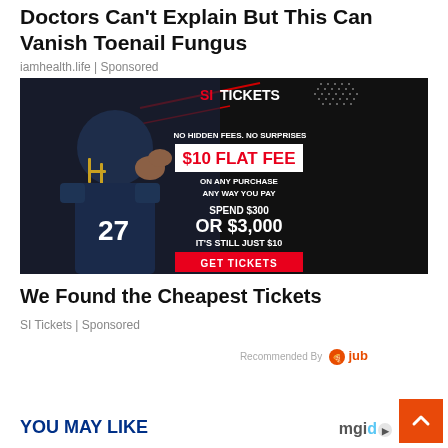Doctors Can't Explain But This Can Vanish Toenail Fungus
iamhealth.life | Sponsored
[Figure (photo): SI Tickets advertisement with football player in dark uniform number 27. Text reads: NO HIDDEN FEES. NO SURPRISES, $10 FLAT FEE, ON ANY PURCHASE ANY WAY YOU PAY, SPEND $300 OR $3,000 IT'S STILL JUST $10, GET TICKETS button.]
We Found the Cheapest Tickets
SI Tickets | Sponsored
Recommended By  jub
YOU MAY LIKE
mgid